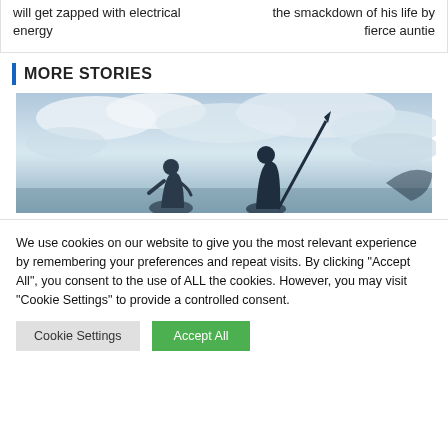will get zapped with electrical energy
the smackdown of his life by fierce auntie
MORE STORIES
[Figure (photo): Two figures in silhouette against a dramatic cloudy sky, one holding a long staff or spear, outdoor scene]
We use cookies on our website to give you the most relevant experience by remembering your preferences and repeat visits. By clicking "Accept All", you consent to the use of ALL the cookies. However, you may visit "Cookie Settings" to provide a controlled consent.
Cookie Settings
Accept All